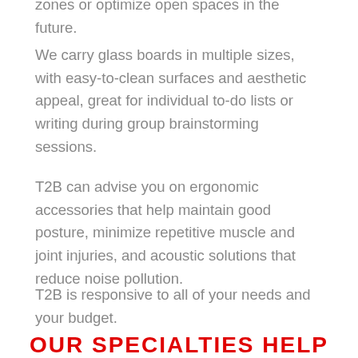zones or optimize open spaces in the future.
We carry glass boards in multiple sizes, with easy-to-clean surfaces and aesthetic appeal, great for individual to-do lists or writing during group brainstorming sessions.
T2B can advise you on ergonomic accessories that help maintain good posture, minimize repetitive muscle and joint injuries, and acoustic solutions that reduce noise pollution.
T2B is responsive to all of your needs and your budget.
OUR SPECIALTIES HELP